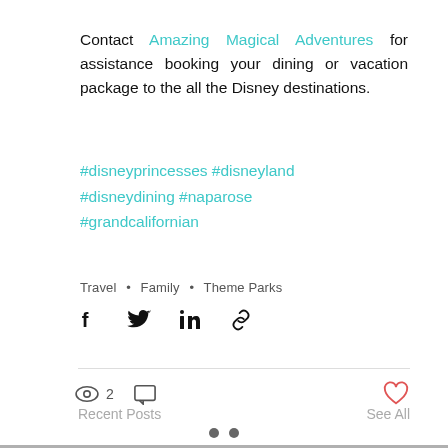Contact Amazing Magical Adventures for assistance booking your dining or vacation package to the all the Disney destinations.
#disneyprincesses #disneyland #disneydining #naparose #grandcalifornian
Travel • Family • Theme Parks
[Figure (infographic): Social share icons: Facebook, Twitter, LinkedIn, link/chain icon]
2 views, 0 comments, 0 likes
Recent Posts    See All
[Figure (infographic): Two dark gray navigation dots at bottom]